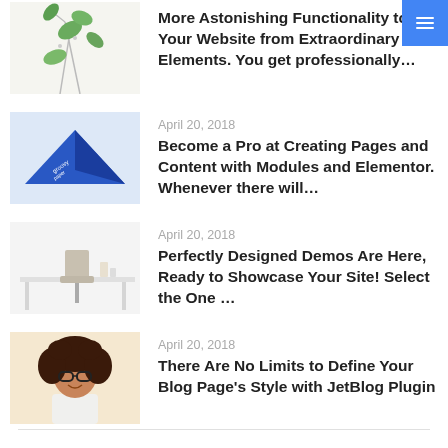[Figure (photo): Photo of plant/floral arrangement on white background]
More Astonishing Functionality to Your Website from Extraordinary Elements. You get professionally…
[Figure (photo): Photo of a folded blue paper/origami on light blue background]
April 20, 2018
Become a Pro at Creating Pages and Content with Modules and Elementor. Whenever there will…
[Figure (photo): Photo of a minimal desk with chair on white background]
April 20, 2018
Perfectly Designed Demos Are Here, Ready to Showcase Your Site! Select the One …
[Figure (photo): Photo of a woman with curly hair and glasses on beige background]
April 20, 2018
There Are No Limits to Define Your Blog Page's Style with JetBlog Plugin